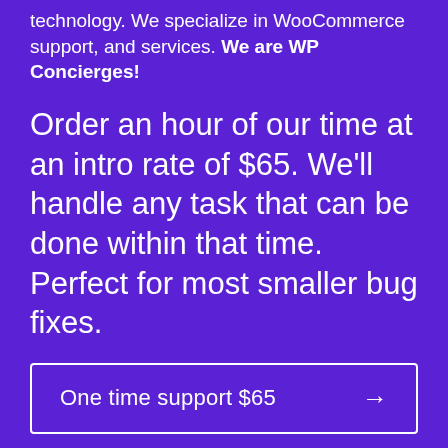technology. We specialize in WooCommerce support, and services. We are WP Concierges!
Order an hour of our time at an intro rate of $65. We'll handle any task that can be done within that time. Perfect for most smaller bug fixes.
One time support $65 →
Need ongoing support and help with your WooCommerce store? Check out one of our support plans!